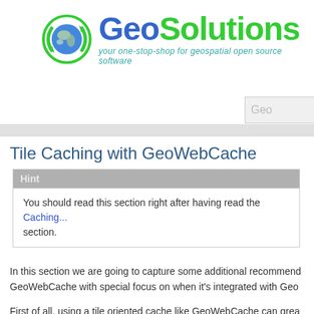[Figure (logo): GeoSolutions logo with globe icon and tagline 'your one-stop-shop for geospatial open source software']
Tile Caching with GeoWebCache
Hint
You should read this section right after having read the Caching section.
In this section we are going to capture some additional recommendations for GeoWebCache with special focus on when it's integrated with Geo
First of all, using a tile oriented cache like GeoWebCache can grea compared to pure WMS of 10 to 100 times, assuming tiles are alre seeded), therefore when looking for performance (speed and thro